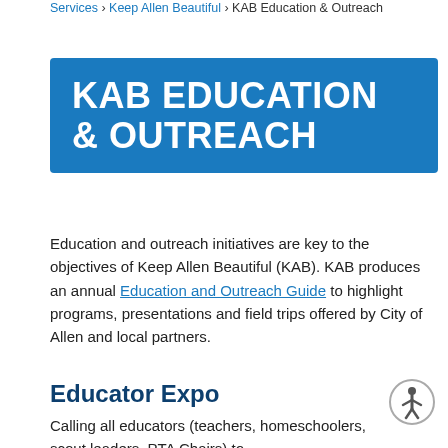Services › Keep Allen Beautiful › KAB Education & Outreach
KAB EDUCATION & OUTREACH
Education and outreach initiatives are key to the objectives of Keep Allen Beautiful (KAB). KAB produces an annual Education and Outreach Guide to highlight programs, presentations and field trips offered by City of Allen and local partners.
Educator Expo
Calling all educators (teachers, homeschoolers, scout leaders, PTA Chairs) to